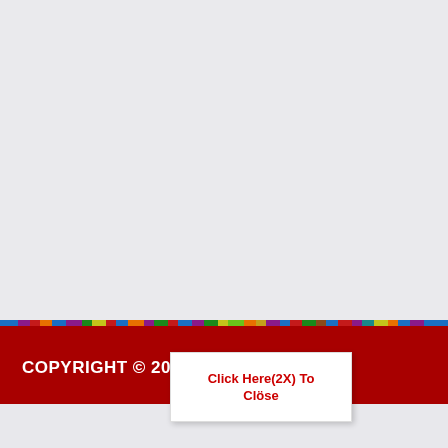[Figure (other): Large light gray blank area filling the upper portion of the page]
[Figure (other): Multicolor rainbow stripe bar separating gray area from red footer]
COPYRIGHT © 20... yung. ALL RIGHTS
Click Here(2X) To Close